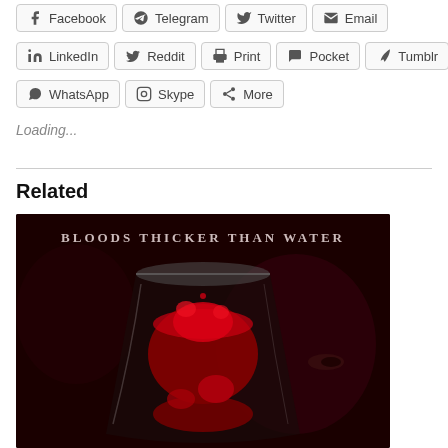Facebook
Telegram
Twitter
Email
LinkedIn
Reddit
Print
Pocket
Tumblr
WhatsApp
Skype
More
Loading...
Related
[Figure (photo): Dark atmospheric book cover image showing a glass with red liquid (blood) splashing inside, with text 'BLOODS THICKER THAN WATER' at the top and a shadowy face visible in the background.]